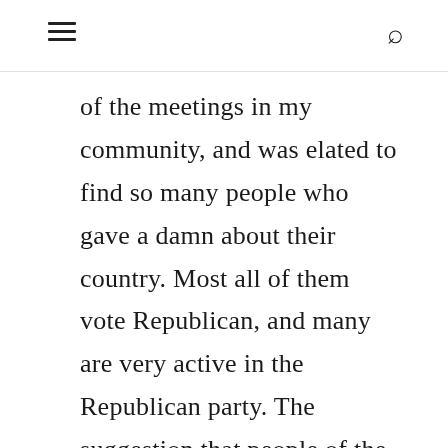≡  🔍
of the meetings in my community, and was elated to find so many people who gave a damn about their country. Most all of them vote Republican, and many are very active in the Republican party. The suggestion that people of the Tea Party persuasion are not solid Republicans is ridiculous.